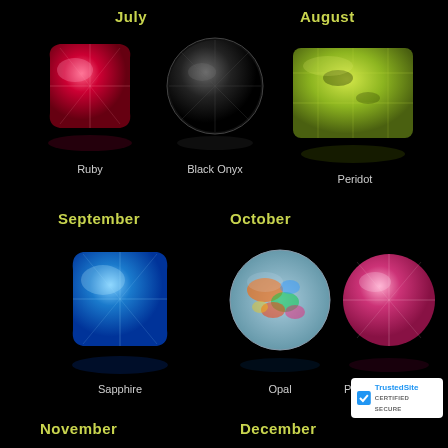July
[Figure (photo): Ruby gemstone - cushion cut red ruby with reflection on black background]
Ruby
[Figure (photo): Black Onyx gemstone - round cut black onyx with reflection on black background]
Black Onyx
August
[Figure (photo): Peridot gemstone - emerald cut yellow-green peridot with reflection on black background]
Peridot
September
[Figure (photo): Sapphire gemstone - cushion cut blue sapphire with reflection on black background]
Sapphire
October
[Figure (photo): Opal gemstone - round opal with colorful fire pattern on black background]
Opal
[Figure (photo): Pink Tourmaline gemstone - cushion cut pink tourmaline on black background]
Pink Tourmaline
November
December
[Figure (logo): TrustedSite Certified Secure badge]